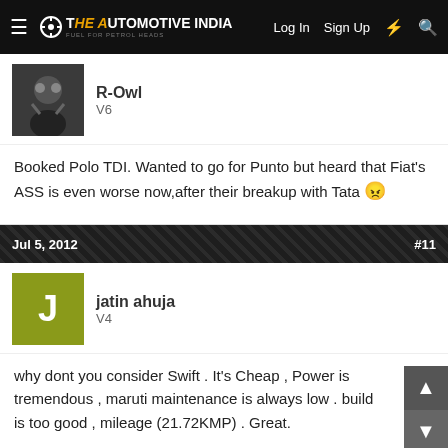The Automotive India | Log In | Sign Up
[Figure (photo): Avatar image of user R-Owl showing a superhero figure]
R-Owl
V6
Booked Polo TDI. Wanted to go for Punto but heard that Fiat's ASS is even worse now,after their breakup with Tata 😠
Jul 5, 2012 #11
[Figure (illustration): Green avatar with letter J for user jatin ahuja]
jatin ahuja
V4
why dont you consider Swift . It's Cheap , Power is tremendous , maruti maintenance is always low . build is too good , mileage (21.72KMP) . Great.